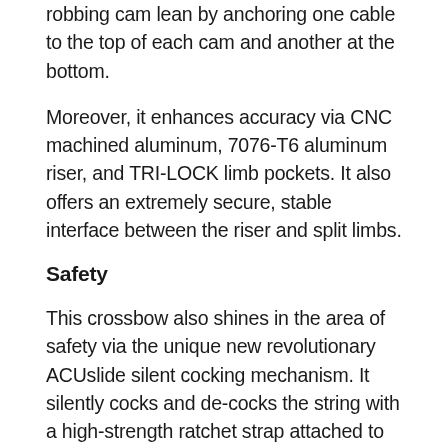robbing cam lean by anchoring one cable to the top of each cam and another at the bottom.
Moreover, it enhances accuracy via CNC machined aluminum, 7076-T6 aluminum riser, and TRI-LOCK limb pockets. It also offers an extremely secure, stable interface between the riser and split limbs.
Safety
This crossbow also shines in the area of safety via the unique new revolutionary ACUslide silent cocking mechanism. It silently cocks and de-cocks the string with a high-strength ratchet strap attached to the rear of the trigger box.